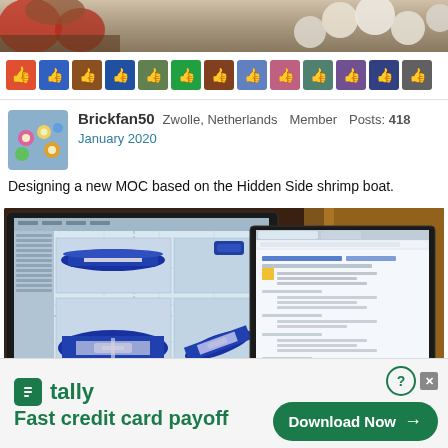[Figure (photo): Top strip showing blurred LEGO pieces including white circular studs]
[Figure (photo): Row of user like/reaction avatars with thumbs-up emoji overlays, showing profile pictures of users who liked the post]
Brickfan50  Zwolle, Netherlands  Member  Posts: 418
January 2020
Designing a new MOC based on the Hidden Side shrimp boat.
[Figure (photo): Photo of two computer monitors on a desk. Left monitor shows BrickLink Studio 3D LEGO design software with a blue shrimp boat model in progress. Right monitor shows a browser window with what appears to be LEGO part lists or documentation. Desk has warm amber/orange background, keyboard visible at right edge.]
[Figure (other): Tally app advertisement banner. Shows Tally logo (green square with T icon) and text 'tally' and 'Fast credit card payoff' on the left, and a green 'Download Now →' button on the right with close/help buttons.]